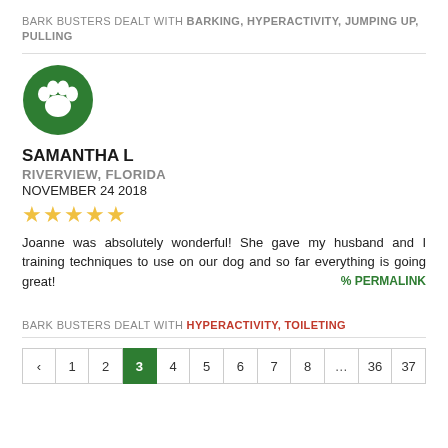BARK BUSTERS DEALT WITH BARKING, HYPERACTIVITY, JUMPING UP, PULLING
[Figure (logo): Green circle with white paw print logo]
SAMANTHA L
RIVERVIEW, FLORIDA
NOVEMBER 24 2018
★★★★★
Joanne was absolutely wonderful! She gave my husband and I training techniques to use on our dog and so far everything is going great! % PERMALINK
BARK BUSTERS DEALT WITH HYPERACTIVITY, TOILETING
‹ 1 2 3 4 5 6 7 8 … 36 37